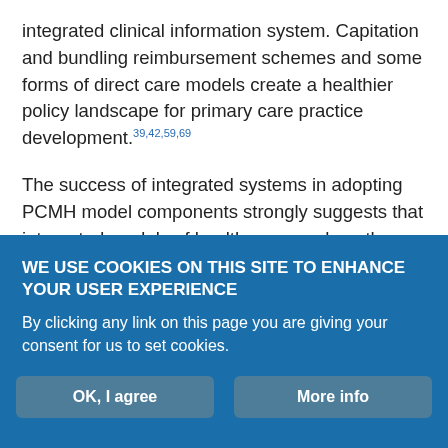integrated clinical information system. Capitation and bundling reimbursement schemes and some forms of direct care models create a healthier policy landscape for primary care practice development.39,42,59,69
The success of integrated systems in adopting PCMH model components strongly suggests that integrated models of health care, such as the accountable care organization (ACO), may be fruitful for leveraging adequate resources for practices if they sufficiently value the contribution of primary care to a high-value health care system.14,44,47 New business models are needed that are
WE USE COOKIES ON THIS SITE TO ENHANCE YOUR USER EXPERIENCE
By clicking any link on this page you are giving your consent for us to set cookies.
OK, I agree
More info